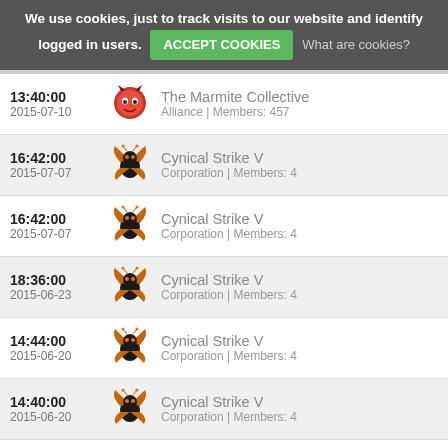We use cookies, just to track visits to our website and identify logged in users. ACCEPT COOKIES What are cookies?
13:40:00 | 2015-07-10 | The Marmite Collective | Alliance | Members: 457
16:42:00 | 2015-07-07 | Cynical Strike V | Corporation | Members: 4
16:42:00 | 2015-07-07 | Cynical Strike V | Corporation | Members: 4
18:36:00 | 2015-06-23 | Cynical Strike V | Corporation | Members: 4
14:44:00 | 2015-06-20 | Cynical Strike V | Corporation | Members: 4
14:40:00 | 2015-06-20 | Cynical Strike V | Corporation | Members: 4
15:53:00 | 2015-05-30 | Cynical Strike V | Corporation | Members: 4
12:12:00 | 2015-05-19 | Cynical Strike V | Corporation | Members: 4
12:11:00 | 2015-05-19 | Cynical Strike V | Corporation | Members: 4
12:10:00 | 2015-05-19 | Cynical Strike V | Corporation | Members: 4